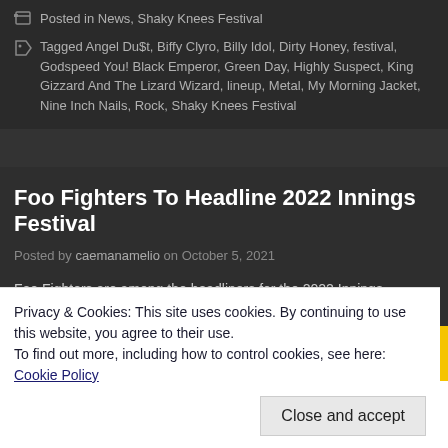Posted in News, Shaky Knees Festival
Tagged Angel Du$t, Biffy Clyro, Billy Idol, Dirty Honey, festival, Godspeed You! Black Emperor, Green Day, Highly Suspect, King Gizzard And The Lizard Wizard, lineup, Metal, My Morning Jacket, Nine Inch Nails, Rock, Shaky Knees Festival
Foo Fighters To Headline 2022 Innings Festival
Posted by caemanamelio on October 5, 2021
Foo Fighters are among the headliners for the 2022 Innings Festival. That ev Tempe Beach Park and Tempe Arts Park in Arizona on February 26-27 and it Impala, St. Vincent, My Morning Jacket, Dashboard Confessional, and more.
Privacy & Cookies: This site uses cookies. By continuing to use this website, you agree to their use.
To find out more, including how to control cookies, see here: Cookie Policy